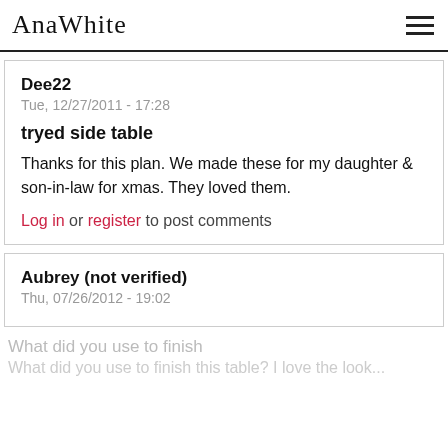AnaWhite
Dee22
Tue, 12/27/2011 - 17:28
tryed side table
Thanks for this plan. We made these for my daughter & son-in-law for xmas. They loved them.
Log in or register to post comments
Aubrey (not verified)
Thu, 07/26/2012 - 19:02
What did you use to finish
What did you use to finish this table? I love the look...